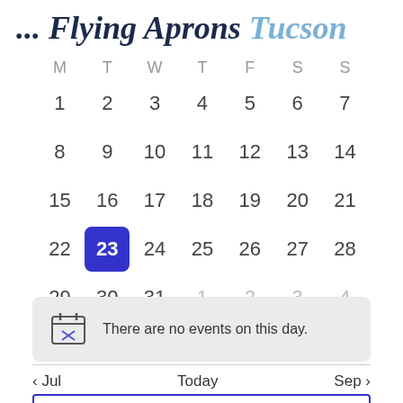... Flying Aprons Tucson
[Figure (other): Monthly calendar for August showing dates 1-31 with day headers M T W T F S S. Date 23 is highlighted with a blue square background.]
There are no events on this day.
< Jul   Today   Sep >